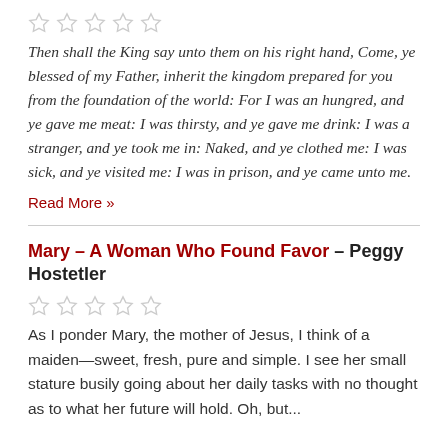[Figure (other): Five empty star rating icons]
Then shall the King say unto them on his right hand, Come, ye blessed of my Father, inherit the kingdom prepared for you from the foundation of the world: For I was an hungred, and ye gave me meat: I was thirsty, and ye gave me drink: I was a stranger, and ye took me in: Naked, and ye clothed me: I was sick, and ye visited me: I was in prison, and ye came unto me.
Read More »
Mary – A Woman Who Found Favor – Peggy Hostetler
[Figure (other): Five empty star rating icons]
As I ponder Mary, the mother of Jesus, I think of a maiden—sweet, fresh, pure and simple. I see her small stature busily going about her daily tasks with no thought as to what her future will hold. Oh, but...